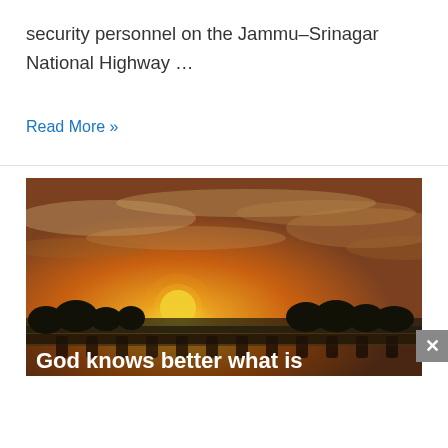security personnel on the Jammu–Srinagar National Highway …
Read More »
[Figure (photo): Sunset photo over a bridge or structure with trees silhouetted against an orange sky. Text overlay reads: 'God knows better what is']
God knows better what is